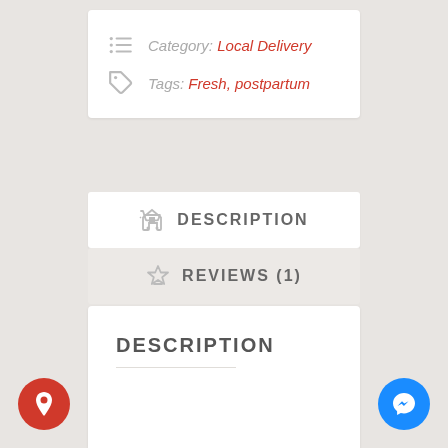Category: Local Delivery
Tags: Fresh, postpartum
DESCRIPTION
REVIEWS (1)
DESCRIPTION